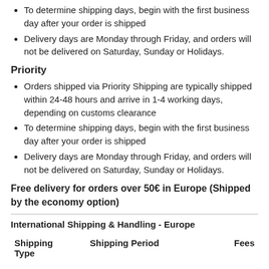To determine shipping days, begin with the first business day after your order is shipped
Delivery days are Monday through Friday, and orders will not be delivered on Saturday, Sunday or Holidays.
Priority
Orders shipped via Priority Shipping are typically shipped within 24-48 hours and arrive in 1-4 working days, depending on customs clearance
To determine shipping days, begin with the first business day after your order is shipped
Delivery days are Monday through Friday, and orders will not be delivered on Saturday, Sunday or Holidays.
Free delivery for orders over 50€ in Europe (Shipped by the economy option)
International Shipping & Handling - Europe
| Shipping Type | Shipping Period | Fees |
| --- | --- | --- |